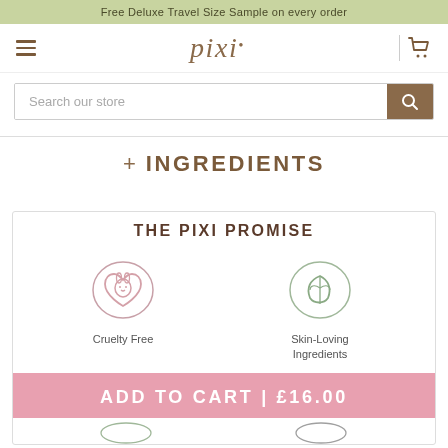Free Deluxe Travel Size Sample on every order
[Figure (logo): Pixi beauty brand logo with hamburger menu and shopping cart icon]
Search our store
+ INGREDIENTS
THE PIXI PROMISE
[Figure (illustration): Cruelty Free icon - rabbit in a heart shape, pink outline on oval]
Cruelty Free
[Figure (illustration): Skin-Loving Ingredients icon - leaf in oval, green tones]
Skin-Loving Ingredients
ADD TO CART | £16.00